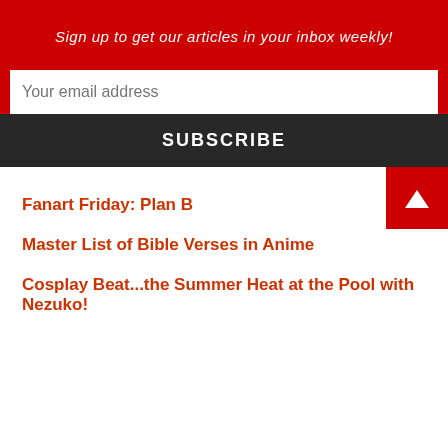Sign up to get our articles in your inbox weekly!
Your email address
SUBSCRIBE
Fanart Friday: Plan B
Master List of Bible Verses in Anime
Cosplay Beat...the Summer Heat at the Pool with Nezuko!
Anime